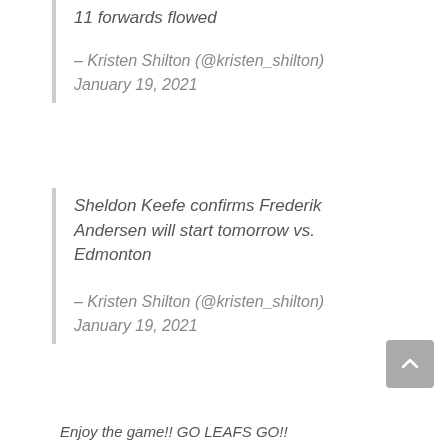11 forwards flowed
– Kristen Shilton (@kristen_shilton) January 19, 2021
Sheldon Keefe confirms Frederik Andersen will start tomorrow vs. Edmonton
– Kristen Shilton (@kristen_shilton) January 19, 2021
Enjoy the game!! GO LEAFS GO!!